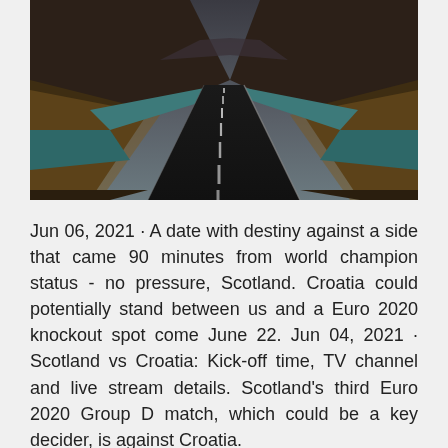[Figure (photo): A winding road stretching into the distance over water, flanked by dark hills with teal-colored water on both sides, under an overcast sky. Dark, moody landscape photograph.]
Jun 06, 2021 · A date with destiny against a side that came 90 minutes from world champion status - no pressure, Scotland. Croatia could potentially stand between us and a Euro 2020 knockout spot come June 22. Jun 04, 2021 · Scotland vs Croatia: Kick-off time, TV channel and live stream details. Scotland's third Euro 2020 Group D match, which could be a key decider, is against Croatia.